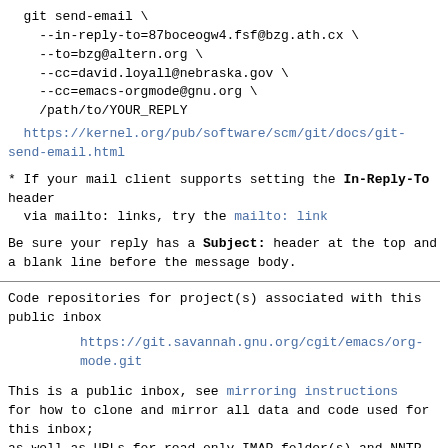git send-email \
    --in-reply-to=87boceogw4.fsf@bzg.ath.cx \
    --to=bzg@altern.org \
    --cc=david.loyall@nebraska.gov \
    --cc=emacs-orgmode@gnu.org \
    /path/to/YOUR_REPLY
https://kernel.org/pub/software/scm/git/docs/git-send-email.html
* If your mail client supports setting the In-Reply-To header
  via mailto: links, try the mailto: link
Be sure your reply has a Subject: header at the top and
a blank line before the message body.
Code repositories for project(s) associated with this
public inbox
https://git.savannah.gnu.org/cgit/emacs/org-mode.git
This is a public inbox, see mirroring instructions
for how to clone and mirror all data and code used for
this inbox;
as well as URLs for read-only IMAP folder(s) and NNTP
newsgroup(s).